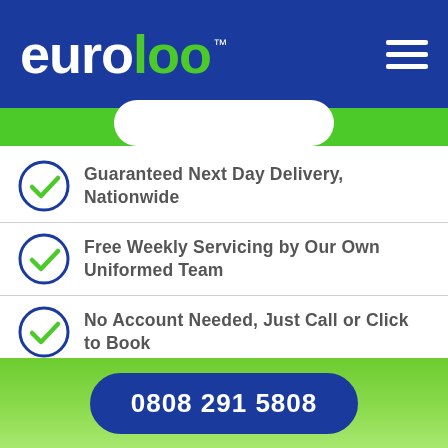euroloo™
Guaranteed Next Day Delivery, Nationwide
Free Weekly Servicing by Our Own Uniformed Team
No Account Needed, Just Call or Click to Book
Remember, With Us No Deposit it Required
Rated Trustpilot Excellent by Customers
0808 291 5808